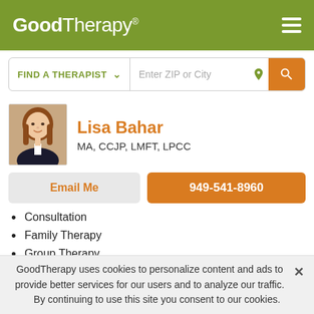GoodTherapy®
[Figure (screenshot): GoodTherapy search bar with FIND A THERAPIST dropdown and Enter ZIP or City input with orange search button]
[Figure (photo): Profile photo of Lisa Bahar, a woman with shoulder-length reddish-brown hair wearing a dark blazer]
Lisa Bahar
MA, CCJP, LMFT, LPCC
Email Me
949-541-8960
Consultation
Family Therapy
Group Therapy
Individual Therapy & Counseling
Marriage, Couples, or Relationship Counseling
GoodTherapy uses cookies to personalize content and ads to provide better services for our users and to analyze our traffic. By continuing to use this site you consent to our cookies.